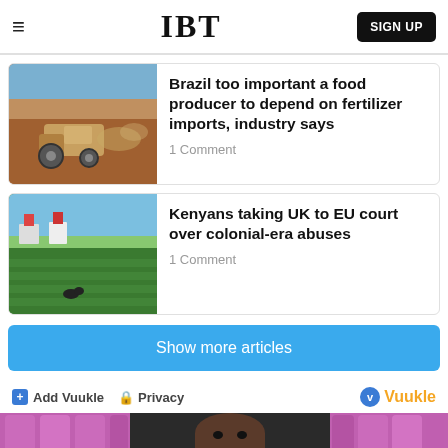IBT  SIGN UP
Brazil too important a food producer to depend on fertilizer imports, industry says
1 Comment
Kenyans taking UK to EU court over colonial-era abuses
1 Comment
Show more articles
Add Vuukle  Privacy   Vuukle
[Figure (photo): Person visible in front of colorful background, partial view at bottom of page]